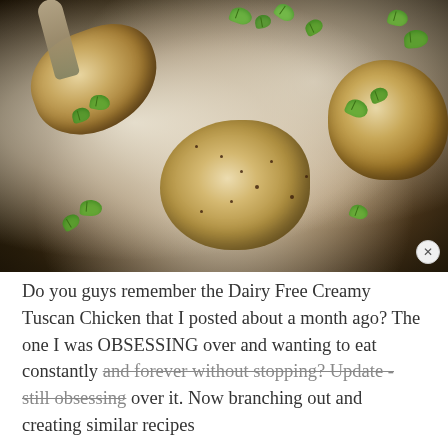[Figure (photo): Close-up overhead photo of seasoned chicken pieces in a creamy white sauce inside a dark cast iron skillet, garnished with fresh green herbs (parsley)]
Do you guys remember the Dairy Free Creamy Tuscan Chicken that I posted about a month ago? The one I was OBSESSING over and wanting to eat constantly and forever without stopping? Update - still obsessing over it. Now branching out and creating similar recipes